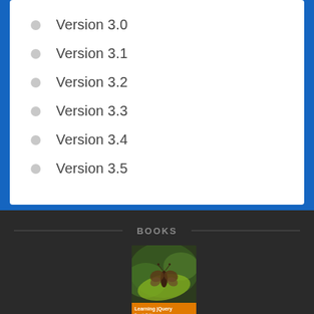Version 3.0
Version 3.1
Version 3.2
Version 3.3
Version 3.4
Version 3.5
BOOKS
[Figure (illustration): Book cover of 'Learning jQuery Fourth Edition' showing a butterfly/insect on a plant with an orange banner at the bottom]